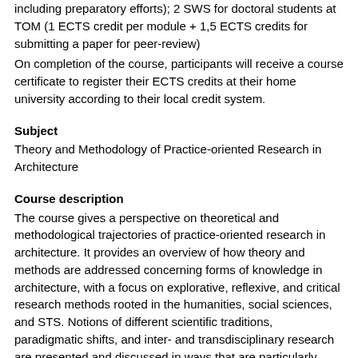including preparatory efforts); 2 SWS for doctoral students at TOM (1 ECTS credit per module + 1,5 ECTS credits for submitting a paper for peer-review)
On completion of the course, participants will receive a course certificate to register their ECTS credits at their home university according to their local credit system.
Subject
Theory and Methodology of Practice-oriented Research in Architecture
Course description
The course gives a perspective on theoretical and methodological trajectories of practice-oriented research in architecture. It provides an overview of how theory and methods are addressed concerning forms of knowledge in architecture, with a focus on explorative, reflexive, and critical research methods rooted in the humanities, social sciences, and STS. Notions of different scientific traditions, paradigmatic shifts, and inter- and transdisciplinary research are presented and discussed in ways that are particularly useful for enrolled and emergent doctoral researchers pursuing practice-oriented research. Course participants are provided with an